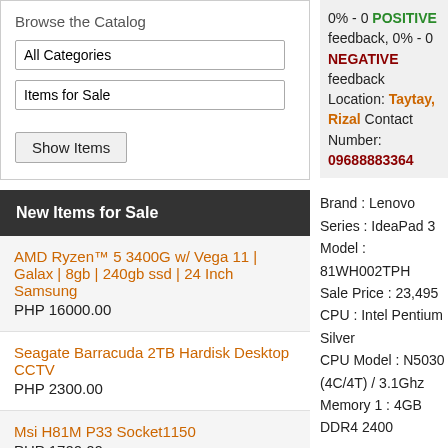Browse the Catalog
All Categories
Items for Sale
Show Items
New Items for Sale
AMD Ryzen™ 5 3400G w/ Vega 11 | Galax | 8gb | 240gb ssd | 24 Inch Samsung
PHP 16000.00
Seagate Barracuda 2TB Hardisk Desktop CCTV
PHP 2300.00
Msi H81M P33 Socket1150
PHP 1700.00
Lenovo Thinkpad L13 FHD i5-10210u Ram 8gb ssd 256gb
0% - 0 POSITIVE feedback, 0% - 0 NEGATIVE feedback
Location: Taytay, Rizal Contact Number: 09688883364
Brand : Lenovo
Series : IdeaPad 3
Model : 81WH002TPH
Sale Price : 23,495
CPU : Intel Pentium Silver
CPU Model : N5030 (4C/4T) / 3.1Ghz
Memory 1 : 4GB DDR4 2400